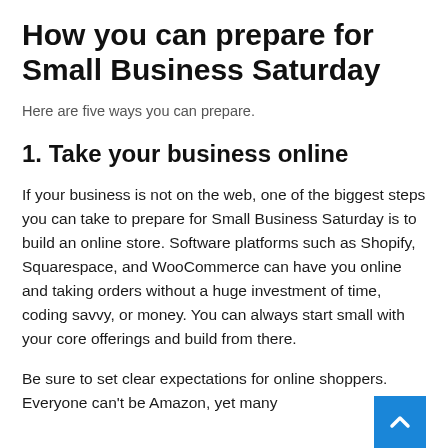How you can prepare for Small Business Saturday
Here are five ways you can prepare.
1. Take your business online
If your business is not on the web, one of the biggest steps you can take to prepare for Small Business Saturday is to build an online store. Software platforms such as Shopify, Squarespace, and WooCommerce can have you online and taking orders without a huge investment of time, coding savvy, or money. You can always start small with your core offerings and build from there.
Be sure to set clear expectations for online shoppers. Everyone can't be Amazon, yet many